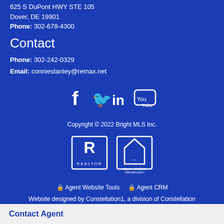625 S DuPont HWY STE 105
Dover, DE 19901
Phone: 302-678-4300
Contact
Phone: 302-242-0329
Email: conniestanley@remax.net
[Figure (infographic): Social media icons: Facebook, Twitter, LinkedIn, YouTube]
Copyright © 2022 Bright MLS Inc.
[Figure (logo): Realtor logo and Equal Housing Opportunity logo]
🔒 Agent Website Tools   🔒 Agent CRM
Website designed by Constellation1, a division of Constellation Web Solutions, Inc.
Contact Agent